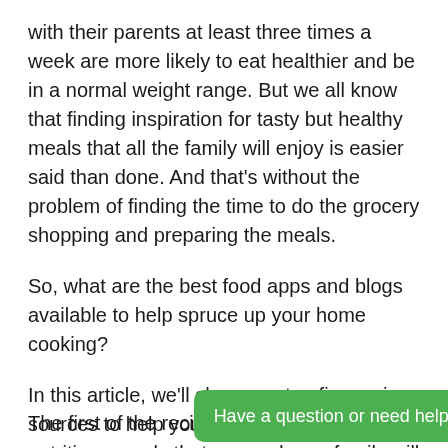with their parents at least three times a week are more likely to eat healthier and be in a normal weight range. But we all know that finding inspiration for tasty but healthy meals that all the family will enjoy is easier said than done. And that's without the problem of finding the time to do the grocery shopping and preparing the meals.
So, what are the best food apps and blogs available to help spruce up your home cooking?
In this article, we'll share our top five recipe sources to help you find some easy yet nutritious meals that you and your family will love.
1. Food Network
The first of the reci